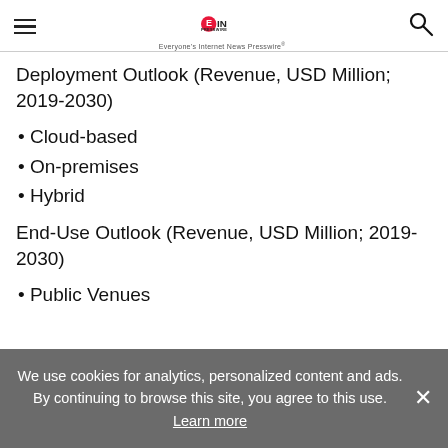EIN PRESSWIRE — Everyone's Internet News Presswire
Deployment Outlook (Revenue, USD Million; 2019-2030)
• Cloud-based
• On-premises
• Hybrid
End-Use Outlook (Revenue, USD Million; 2019-2030)
• Public Venues
We use cookies for analytics, personalized content and ads. By continuing to browse this site, you agree to this use. Learn more